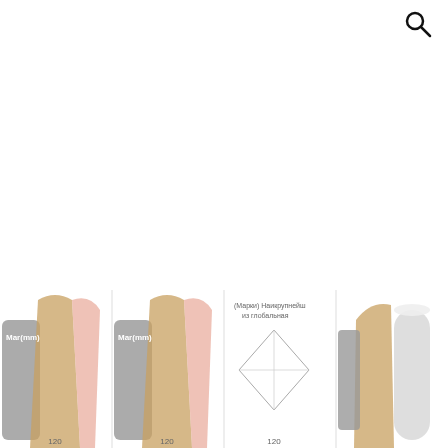[Figure (illustration): Search icon (magnifying glass) in top-right corner]
[Figure (illustration): Four dental/tooth reference chart panels at the bottom of the page showing tooth cross-sections with measurement labels and color gradients. First two panels show tooth anatomy with 'Mar(mm)' labels and number 120. Third panel shows a blank chart template labeled '(Марки) Наикрупнейш из глобальная' with number 120. Fourth panel shows a tooth with grey/white color swatches.]